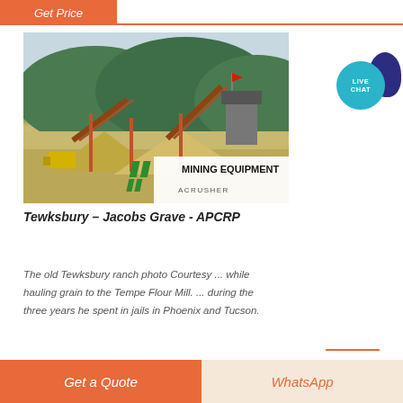Get Price
[Figure (photo): Outdoor mining/quarry site with conveyor belts, industrial equipment, gravel piles, and green hills in the background. Mining Equipment ACRUSHER overlay logo in bottom-right corner of photo.]
Tewksbury – Jacobs Grave - APCRP
The old Tewksbury ranch photo Courtesy ... while hauling grain to the Tempe Flour Mill. ... during the three years he spent in jails in Phoenix and Tucson.
Get a Quote | WhatsApp